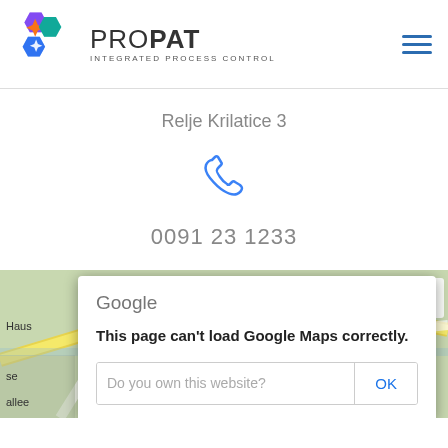[Figure (logo): ProPat Integrated Process Control logo with colorful hexagon shapes and brand name]
Relje Krilatice 3
[Figure (illustration): Blue outline phone/telephone handset icon]
0091 23 1233
[Figure (screenshot): Google Maps embed showing a street map with German street labels (Haus, allee, se, ssen)]
Google
This page can't load Google Maps correctly.
Do you own this website?
OK